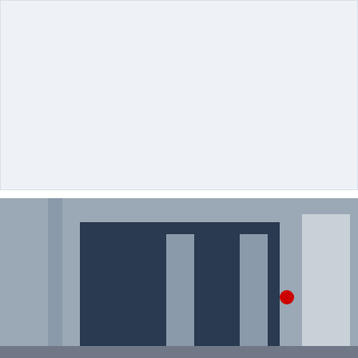[Figure (other): Light blue-grey blank placeholder rectangle occupying the top portion of the page]
[Figure (photo): Industrial machine (injection molding or similar heavy machinery), dark blue cabinet with silver metallic panels and a red logo mark, with a WhatsApp badge overlay in the bottom-left corner]